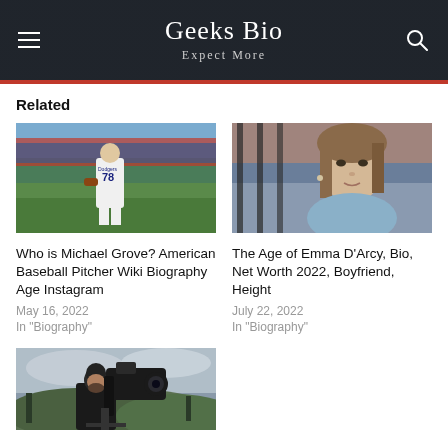Geeks Bio / Expect More
Related
[Figure (photo): Baseball pitcher wearing Dodgers jersey number 78 walking on field]
Who is Michael Grove? American Baseball Pitcher Wiki Biography Age Instagram
May 16, 2022
In "Biography"
[Figure (photo): Young woman with straight hair looking at camera with blurred background]
The Age of Emma D'Arcy, Bio, Net Worth 2022, Boyfriend, Height
July 22, 2022
In "Biography"
[Figure (photo): Person with black beanie hat operating a large camera on an outdoor hillside]